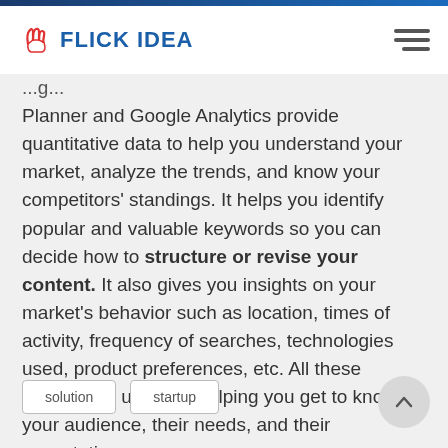FLICK IDEA
Planner and Google Analytics provide quantitative data to help you understand your market, analyze the trends, and know your competitors' standings. It helps you identify popular and valuable keywords so you can decide how to structure or revise your content. It also gives you insights on your market's behavior such as location, times of activity, frequency of searches, technologies used, product preferences, etc. All these metrics are useful in helping you get to know your audience, their needs, and their expectations.
solution
startup